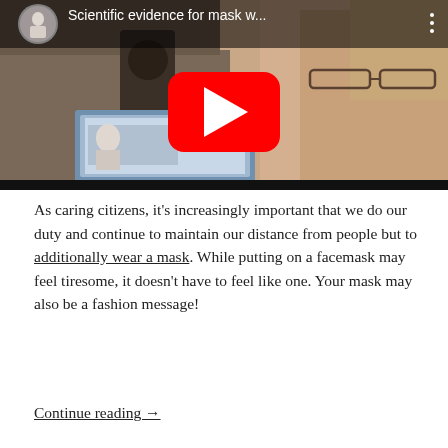[Figure (screenshot): YouTube video thumbnail showing a woman with glasses and a YouTube play button overlay. Video title reads 'Scientific evidence for mask w...' with a small circular profile picture in the top left corner.]
As caring citizens, it's increasingly important that we do our duty and continue to maintain our distance from people but to additionally wear a mask. While putting on a facemask may feel tiresome, it doesn't have to feel like one. Your mask may also be a fashion message!
Continue reading →